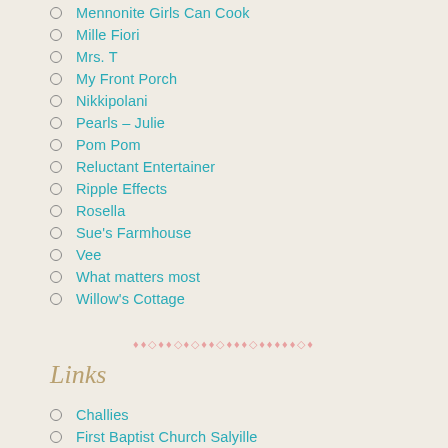Mennonite Girls Can Cook
Mille Fiori
Mrs. T
My Front Porch
Nikkipolani
Pearls – Julie
Pom Pom
Reluctant Entertainer
Ripple Effects
Rosella
Sue's Farmhouse
Vee
What matters most
Willow's Cottage
♦♦◇♦♦◇♦◇♦♦◇♦♦♦◇♦♦♦♦♦◇♦
Links
Challies
First Baptist Church Salyille